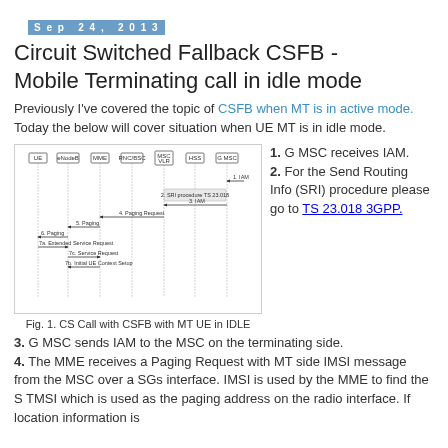Sep 24, 2013
Circuit Switched Fallback CSFB - Mobile Terminating call in idle mode
Previously I've covered the topic of CSFB when MT is in active mode. Today the below will cover situation when UE MT is in idle mode.
[Figure (schematic): Sequence diagram showing CS Call with CSFB with MT UE in IDLE mode, with entities: UE, eNodeB, MME, RNC/BSC, MSC VLR, HSS, G MSC. Steps include IAM, SRI procedure, Paging Request, Paging, Extended Service Request, Service Request, Initial UE Context Setup.]
Fig. 1. CS Call with CSFB with MT UE in IDLE
1. G MSC receives IAM. 2. For the Send Routing Info (SRI) procedure please go to TS 23.018 3GPP. 3. G MSC sends IAM to the MSC on the terminating side. 4. The MME receives a Paging Request with MT side IMSI message from the MSC over a SGs interface. IMSI is used by the MME to find the S TMSI which is used as the paging address on the radio interface. If location information is